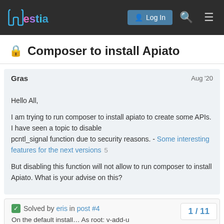Hestia — Log In (navigation header)
🔒 Composer to install Apiato
Gras   Aug '20
Hello All,

I am trying to run composer to install apiato to create some APIs. I have seen a topic to disable pcntl_signal function due to security reasons. - Some interesting features for the next versions 5

But disabling this function will not allow to run composer to install Apiato. What is your advise on this?
✅ Solved by eris in post #4

On the default install… As root: v-add-u
1 / 11